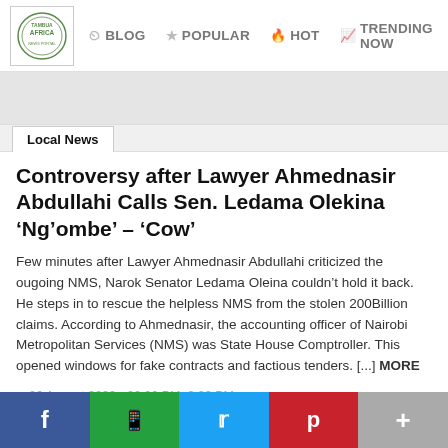[Figure (logo): Tambua Africa logo in circular design with green border]
BLOG  POPULAR  HOT  TRENDING NOW
Local News
Controversy after Lawyer Ahmednasir Abdullahi Calls Sen. Ledama Olekina ‘Ng’ombe’ – ‘Cow’
Few minutes after Lawyer Ahmednasir Abdullahi criticized the ougoing NMS, Narok Senator Ledama Oleina couldn’t hold it back. He steps in to rescue the helpless NMS from the stolen 200Billion claims. According to Ahmednasir, the accounting officer of Nairobi Metropolitan Services (NMS) was State House Comptroller. This opened windows for fake contracts and factious tenders. [...] MORE
26 August 2022 - 20:02 PM, 8:02 PM